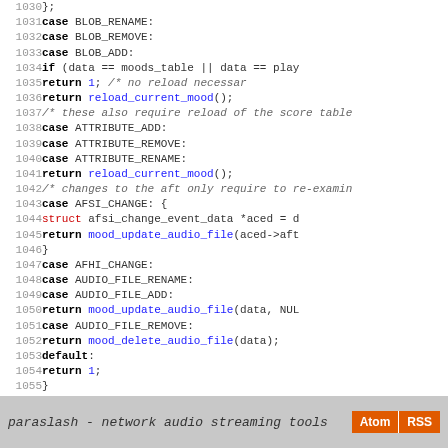Source code listing lines 1030-1058 from paraslash mood.c
paraslash - network audio streaming tools  [Atom] [RSS]